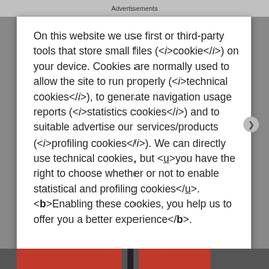Advertisements
On this website we use first or third-party tools that store small files (<i>cookie</i>) on your device. Cookies are normally used to allow the site to run properly (<i>technical cookies</i>), to generate navigation usage reports (<i>statistics cookies</i>) and to suitable advertise our services/products (<i>profiling cookies</i>). We can directly use technical cookies, but <u>you have the right to choose whether or not to enable statistical and profiling cookies</u>. <b>Enabling these cookies, you help us to offer you a better experience</b>.